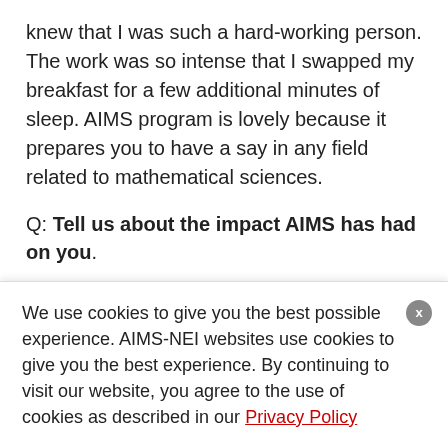knew that I was such a hard-working person. The work was so intense that I swapped my breakfast for a few additional minutes of sleep. AIMS program is lovely because it prepares you to have a say in any field related to mathematical sciences.
Q: Tell us about the impact AIMS has had on you.
Siaka: AIMS changed the course of my life in a good way. AIMS helped me to value myself...
We use cookies to give you the best possible experience. AIMS-NEI websites use cookies to give you the best experience. By continuing to visit our website, you agree to the use of cookies as described in our Privacy Policy